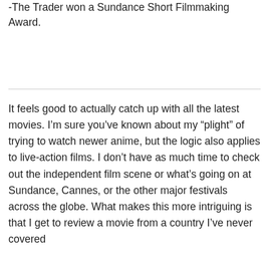-The Trader won a Sundance Short Filmmaking Award.
It feels good to actually catch up with all the latest movies. I'm sure you've known about my “plight” of trying to watch newer anime, but the logic also applies to live-action films. I don’t have as much time to check out the independent film scene or what’s going on at Sundance, Cannes, or the other major festivals across the globe. What makes this more intriguing is that I get to review a movie from a country I’ve never covered